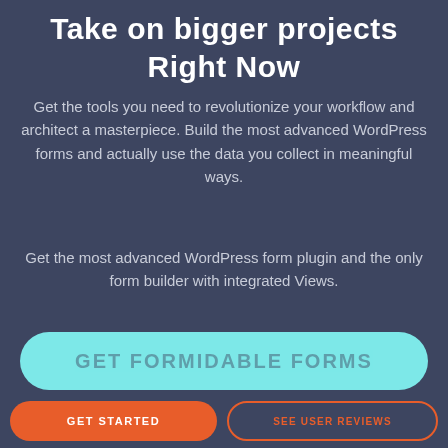Take on bigger projects Right Now
Get the tools you need to revolutionize your workflow and architect a masterpiece. Build the most advanced WordPress forms and actually use the data you collect in meaningful ways.
Get the most advanced WordPress form plugin and the only form builder with integrated Views.
[Figure (other): Partially visible teal/cyan call-to-action button with text 'GET FORMIDABLE FORMS' cut off at bottom]
GET STARTED
SEE USER REVIEWS